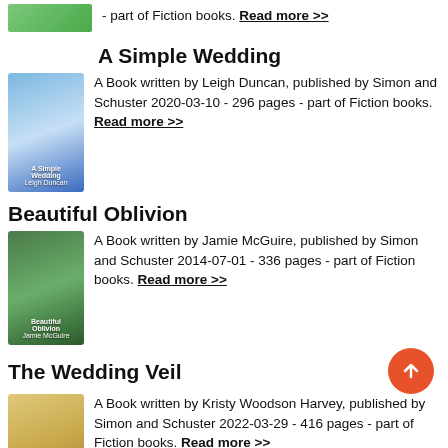- part of Fiction books. Read more >>
A Simple Wedding
[Figure (illustration): Book cover for A Simple Wedding by Leigh Duncan]
A Book written by Leigh Duncan, published by Simon and Schuster 2020-03-10 - 296 pages - part of Fiction books. Read more >>
Beautiful Oblivion
[Figure (illustration): Book cover for Beautiful Oblivion by Jamie McGuire]
A Book written by Jamie McGuire, published by Simon and Schuster 2014-07-01 - 336 pages - part of Fiction books. Read more >>
The Wedding Veil
[Figure (illustration): Book cover for The Wedding Veil by Kristy Woodson Harvey]
A Book written by Kristy Woodson Harvey, published by Simon and Schuster 2022-03-29 - 416 pages - part of Fiction books. Read more >>